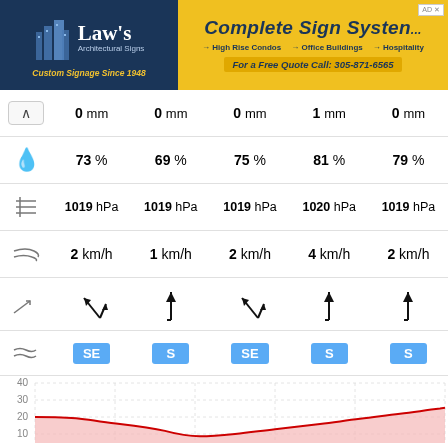[Figure (other): Advertisement banner: Law's Architectural Signs on left (dark blue background), Complete Sign Systems on right (yellow background) with links to High Rise Condos, Office Buildings, Hospitality, and phone number 305-871-6565]
| Icon | Col1 | Col2 | Col3 | Col4 | Col5 |
| --- | --- | --- | --- | --- | --- |
| ^ | 0 mm | 0 mm | 0 mm | 1 mm | 0 mm |
| 💧 | 73 % | 69 % | 75 % | 81 % | 79 % |
| ≡ | 1019 hPa | 1019 hPa | 1019 hPa | 1020 hPa | 1019 hPa |
| wind | 2 km/h | 1 km/h | 2 km/h | 4 km/h | 2 km/h |
| arrow | ↗ | ↑ | ↗ | ↑ | ↑ |
| dir | SE | S | SE | S | S |
| ~ | 0 % | 0 % | 0 % | 0 % | 0 % |
| cloud | 98 % | 94 % | 98 % | 100 % | 100 % |
[Figure (area-chart): Temperature area chart with red line and pink fill, values ranging approximately 10-21 degrees, y-axis labels 10, 20, 30, 40]